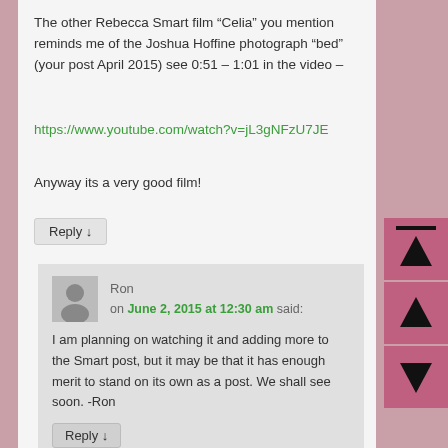The other Rebecca Smart film “Celia” you mention reminds me of the Joshua Hoffine photograph “bed” (your post April 2015) see 0:51 – 1:01 in the video –
https://www.youtube.com/watch?v=jL3gNFzU7JE
Anyway its a very good film!
Reply ↓
Ron
on June 2, 2015 at 12:30 am said:
I am planning on watching it and adding more to the Smart post, but it may be that it has enough merit to stand on its own as a post. We shall see soon. -Ron
Reply ↓